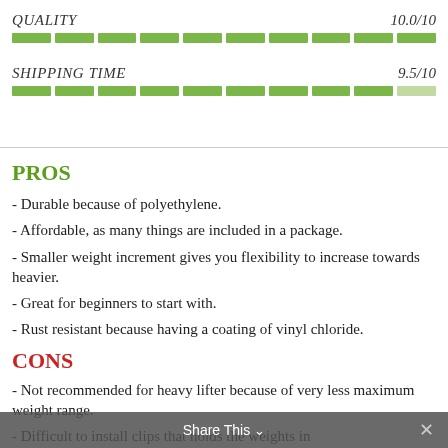QUALITY  10.0/10
[Figure (infographic): Green segmented progress bar for QUALITY rating 10.0/10 — 10 filled green segments]
SHIPPING TIME  9.5/10
[Figure (infographic): Green segmented progress bar for SHIPPING TIME rating 9.5/10 — 10 segments, last slightly dimmer]
PROS
- Durable because of polyethylene.
- Affordable, as many things are included in a package.
- Smaller weight increment gives you flexibility to increase towards heavier.
- Great for beginners to start with.
- Rust resistant because having a coating of vinyl chloride.
CONS
- Not recommended for heavy lifter because of very less maximum weight range.
- Difficult to install clips that holds the weights in
Share This